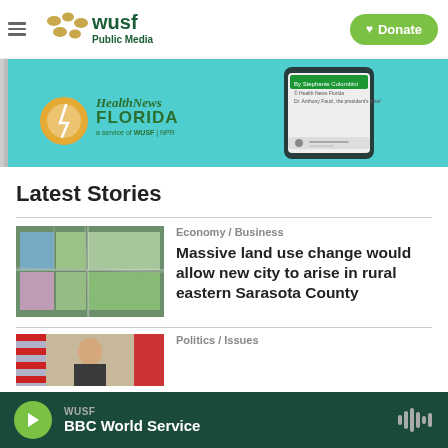WUSF Public Media — Donate
[Figure (screenshot): HealthNews Florida advertisement banner showing a teal background with the HealthNews Florida logo and a smartphone displaying an article]
Latest Stories
[Figure (photo): Aerial map showing colored land use parcels in eastern Sarasota County]
Economy / Business
Massive land use change would allow new city to arise in rural eastern Sarasota County
Politics / Issues
[Figure (photo): Partial photo of a politician with an American flag and red vertical stripe in background]
WUSF — BBC World Service (audio player bar)